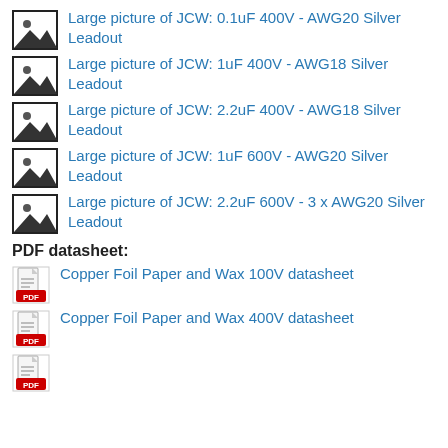Large picture of JCW: 0.1uF 400V - AWG20 Silver Leadout
Large picture of JCW: 1uF 400V - AWG18 Silver Leadout
Large picture of JCW: 2.2uF 400V - AWG18 Silver Leadout
Large picture of JCW: 1uF 600V - AWG20 Silver Leadout
Large picture of JCW: 2.2uF 600V - 3 x AWG20 Silver Leadout
PDF datasheet:
Copper Foil Paper and Wax 100V datasheet
Copper Foil Paper and Wax 400V datasheet